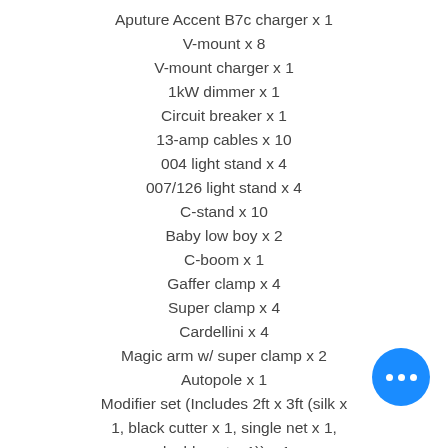Aputure Accent B7c charger x 1
V-mount x 8
V-mount charger x 1
1kW dimmer x 1
Circuit breaker x 1
13-amp cables x 10
004 light stand x 4
007/126 light stand x 4
C-stand x 10
Baby low boy x 2
C-boom x 1
Gaffer clamp x 4
Super clamp x 4
Cardellini x 4
Magic arm w/ super clamp x 2
Autopole x 1
Modifier set (Includes 2ft x 3ft (silk x 1, black cutter x 1, single net x 1, double net x 1)) x 1
4ft x 4ft black floppy x 1